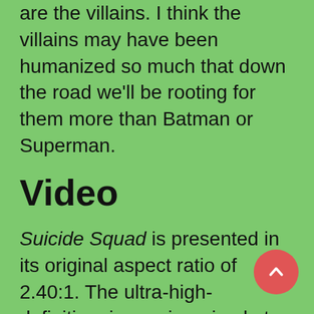are the villains. I think the villains may have been humanized so much that down the road we'll be rooting for them more than Batman or Superman.
Video
Suicide Squad is presented in its original aspect ratio of 2.40:1. The ultra-high-definition image is arrived at by an HEVC codec. I have to tell you that I watched this ultra-high-definition presentation with two other members of the Upcomingdiscs staff. We all had high hopes for